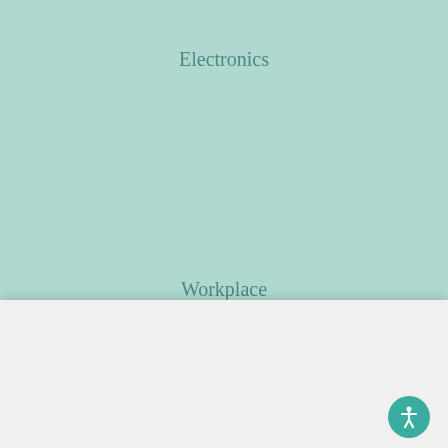Electronics
Workplace
We Care About Your Privacy
By using our site you agree to the storing of cookies on your device to enhance site navigation, analyze site usage, and assist in our marketing efforts.  Privacy Policy